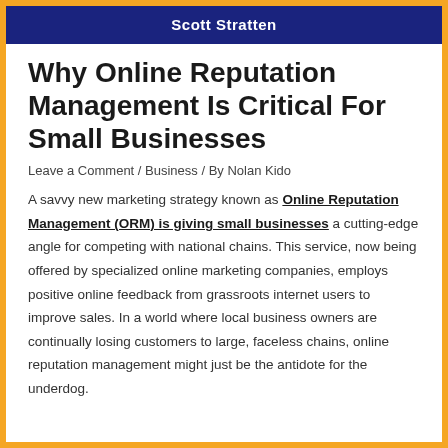Scott Stratten
Why Online Reputation Management Is Critical For Small Businesses
Leave a Comment / Business / By Nolan Kido
A savvy new marketing strategy known as Online Reputation Management (ORM) is giving small businesses a cutting-edge angle for competing with national chains. This service, now being offered by specialized online marketing companies, employs positive online feedback from grassroots internet users to improve sales. In a world where local business owners are continually losing customers to large, faceless chains, online reputation management might just be the antidote for the underdog.